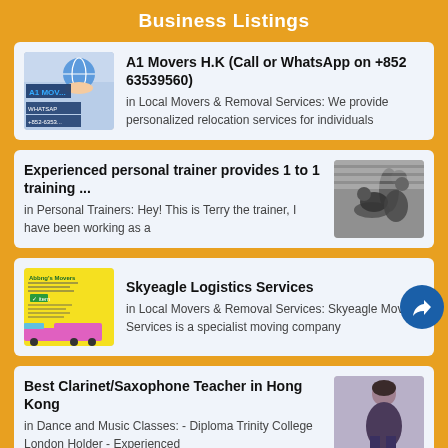Business Listings
A1 Movers H.K (Call or WhatsApp on +852 63539560)
in Local Movers & Removal Services: We provide personalized relocation services for individuals
Experienced personal trainer provides 1 to 1 training ...
in Personal Trainers: Hey! This is Terry the trainer, I have been working as a
Skyeagle Logistics Services
in Local Movers & Removal Services: Skyeagle Moving Services is a specialist moving company
Best Clarinet/Saxophone Teacher in Hong Kong
in Dance and Music Classes: - Diploma Trinity College London Holder - Experienced